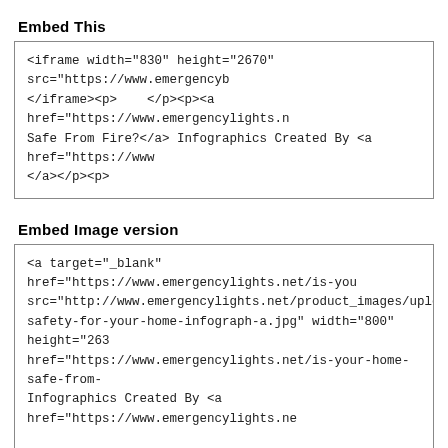Embed This
<iframe width="830" height="2670" src="https://www.emergencyb
</iframe><p>    </p><p><a href="https://www.emergencylights.n
Safe From Fire?</a> Infographics Created By <a href="https://www
</a></p><p>
Embed Image version
<a target="_blank" href="https://www.emergencylights.net/is-you
src="http://www.emergencylights.net/product_images/uploaded_i
safety-for-your-home-infograph-a.jpg" width="800" height="263
href="https://www.emergencylights.net/is-your-home-safe-from-
Infographics Created By <a href="https://www.emergencylights.ne
Now, let's find out some of the primary characteristics of Fire; although they might seem obvious but sometimes we humans, have the tendency of overlooking some basic points such as: